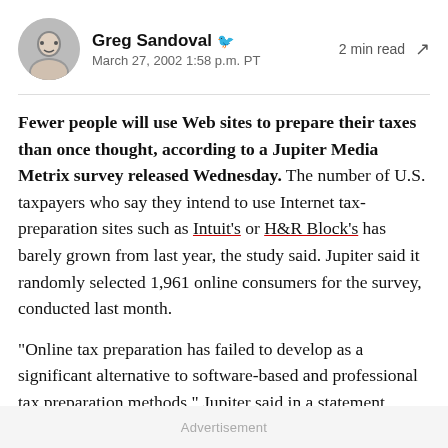Greg Sandoval · March 27, 2002 1:58 p.m. PT · 2 min read
Fewer people will use Web sites to prepare their taxes than once thought, according to a Jupiter Media Metrix survey released Wednesday. The number of U.S. taxpayers who say they intend to use Internet tax-preparation sites such as Intuit's or H&R Block's has barely grown from last year, the study said. Jupiter said it randomly selected 1,961 online consumers for the survey, conducted last month.
"Online tax preparation has failed to develop as a significant alternative to software-based and professional tax preparation methods," Jupiter said in a statement.
Advertisement